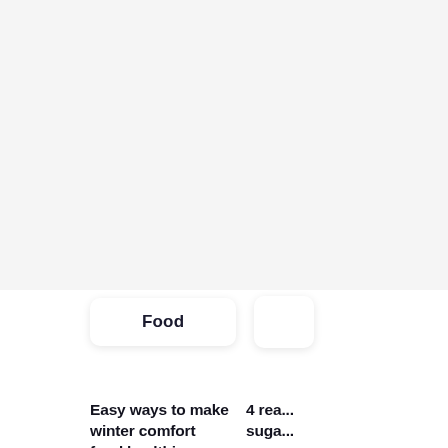[Figure (photo): Light grey image placeholder area at the top of the page]
Food
Easy ways to make winter comfort food healthier
Dietitian Simone Austin shares some simple tips.
4 rea... suga...
Minim... cons... Here... redu...